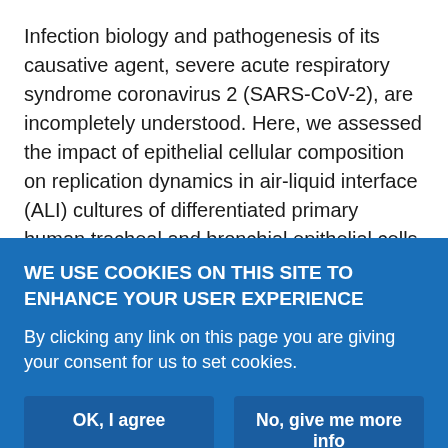Infection biology and pathogenesis of its causative agent, severe acute respiratory syndrome coronavirus 2 (SARS-CoV-2), are incompletely understood. Here, we assessed the impact of epithelial cellular composition on replication dynamics in air-liquid interface (ALI) cultures of differentiated primary human tracheal and bronchial epithelial cells (PTEC/PBEC). We successfully established our infection model by measuring SARS-CoV-2 replication kinetics and related antiviral and inflammatory responses. Next, ALI-PTEC and ALI-PBEC were differentiated for 3, 4 or 5 weeks and infected to study the relation between replication dynamics, cellular composition, and host responses. We observed a gradual increase
WE USE COOKIES ON THIS SITE TO ENHANCE YOUR USER EXPERIENCE
By clicking any link on this page you are giving your consent for us to set cookies.